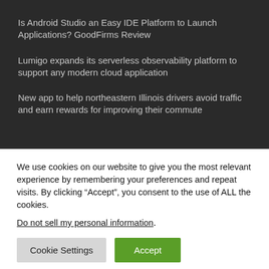Is Android Studio an Easy IDE Platform to Launch Applications? GoodFirms Review
Lumigo expands its serverless observability platform to support any modern cloud application
New app to help northeastern Illinois drivers avoid traffic and earn rewards for improving their commute
We use cookies on our website to give you the most relevant experience by remembering your preferences and repeat visits. By clicking “Accept”, you consent to the use of ALL the cookies.
Do not sell my personal information.